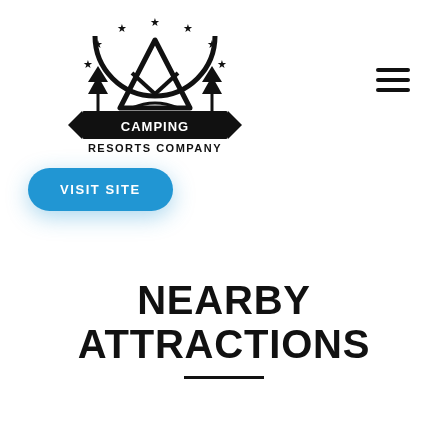[Figure (logo): Camping Resorts Company logo: a circular emblem with stars, a teepee/tent shape inside, pine trees flanking it, and a banner reading CAMPING RESORTS COMPANY]
[Figure (other): Hamburger menu icon: three horizontal black lines]
VISIT SITE
NEARBY ATTRACTIONS